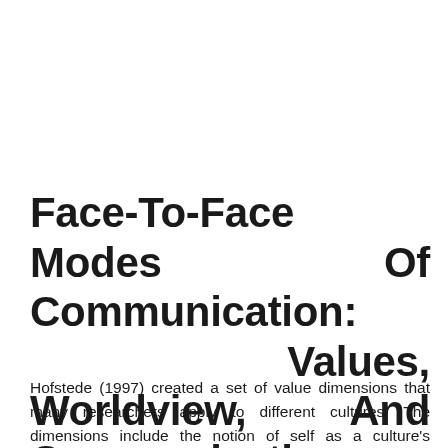Face-To-Face Modes Of Communication: Values, Worldview, And Communication Styles
Hofstede (1997) created a set of value dimensions that many researchers apply to different cultures. The dimensions include the notion of self as a culture's preference for individual autonomy versus